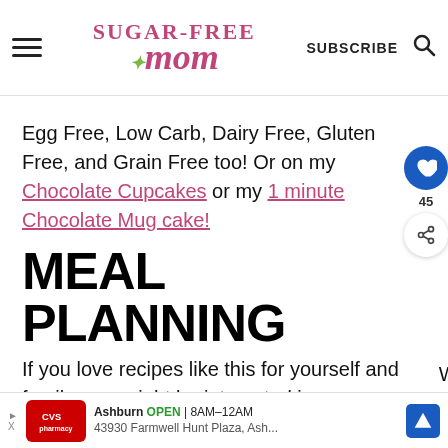Sugar-Free Mom — SUBSCRIBE (search icon)
Egg Free, Low Carb, Dairy Free, Gluten Free, and Grain Free too! Or on my Chocolate Cupcakes or my 1 minute Chocolate Mug cake!
MEAL PLANNING
If you love recipes like this for yourself and family, you might be interested in my